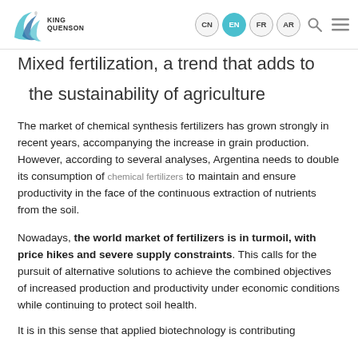King Quenson | CN EN FR AR
Mixed fertilization, a trend that adds to the sustainability of agriculture
The market of chemical synthesis fertilizers has grown strongly in recent years, accompanying the increase in grain production. However, according to several analyses, Argentina needs to double its consumption of chemical fertilizers to maintain and ensure productivity in the face of the continuous extraction of nutrients from the soil.
Nowadays, the world market of fertilizers is in turmoil, with price hikes and severe supply constraints. This calls for the pursuit of alternative solutions to achieve the combined objectives of increased production and productivity under economic conditions while continuing to protect soil health.
It is in this sense that applied biotechnology is contributing